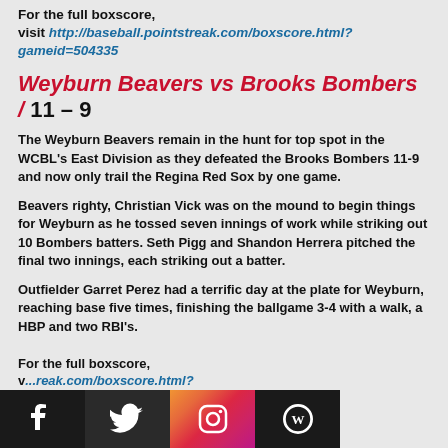For the full boxscore, visit http://baseball.pointstreak.com/boxscore.html?gameid=504335
Weyburn Beavers vs Brooks Bombers / 11 – 9
The Weyburn Beavers remain in the hunt for top spot in the WCBL's East Division as they defeated the Brooks Bombers 11-9 and now only trail the Regina Red Sox by one game.
Beavers righty, Christian Vick was on the mound to begin things for Weyburn as he tossed seven innings of work while striking out 10 Bombers batters. Seth Pigg and Shandon Herrera pitched the final two innings, each striking out a batter.
Outfielder Garret Perez had a terrific day at the plate for Weyburn, reaching base five times, finishing the ballgame 3-4 with a walk, a HBP and two RBI's.
For the full boxscore, visit http://baseball.pointstreak.com/boxscore.html?